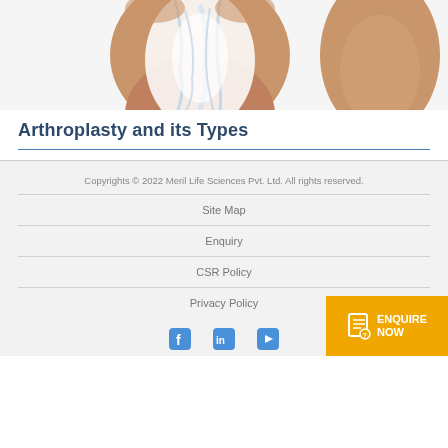[Figure (photo): Medical illustration of a human knee joint with transparent skin showing bone and ligament structure, hands holding the knee from behind]
Arthroplasty and its Types
Copyrights © 2022 Meril Life Sciences Pvt. Ltd. All rights reserved.
Site Map
Enquiry
CSR Policy
Privacy Policy
[Figure (illustration): Social media icons: Facebook, LinkedIn, YouTube in blue]
ENQUIRE NOW